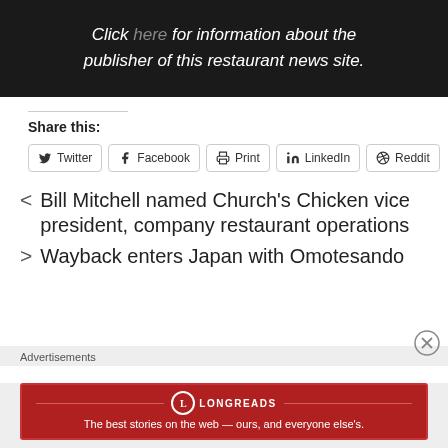[Figure (screenshot): Dark banner with italic text: Click here for information about the publisher of this restaurant news site.]
Share this:
Twitter  Facebook  Print  LinkedIn  Reddit
< Bill Mitchell named Church's Chicken vice president, company restaurant operations
> Wayback enters Japan with Omotesando
Advertisements
[Figure (screenshot): Longreads advertisement banner: The best stories on the web — ours, and everyone else's.]